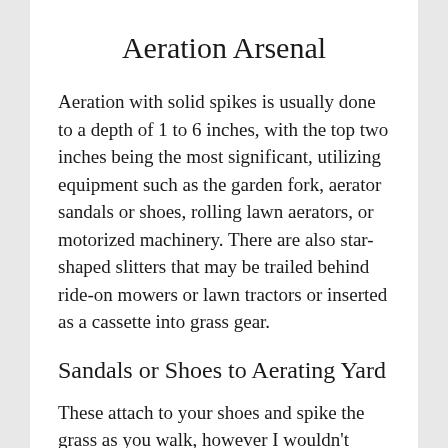Aeration Arsenal
Aeration with solid spikes is usually done to a depth of 1 to 6 inches, with the top two inches being the most significant, utilizing equipment such as the garden fork, aerator sandals or shoes, rolling lawn aerators, or motorized machinery. There are also star-shaped slitters that may be trailed behind ride-on mowers or lawn tractors or inserted as a cassette into grass gear.
Sandals or Shoes to Aerating Yard
These attach to your shoes and spike the grass as you walk, however I wouldn't suggest them on hills. They take some getting used to, but after a few